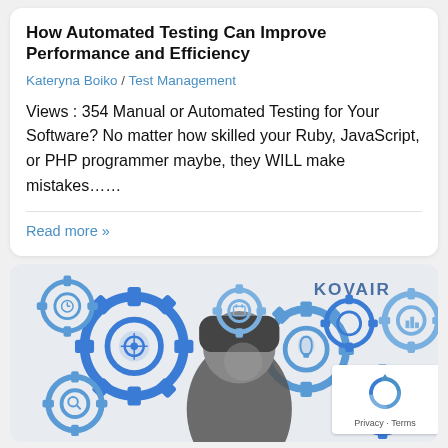How Automated Testing Can Improve Performance and Efficiency
Kateryna Boiko / Test Management
Views : 354 Manual or Automated Testing for Your Software? No matter how skilled your Ruby, JavaScript, or PHP programmer maybe, they WILL make mistakes……
Read more »
[Figure (illustration): KOVAIR branded illustration showing a person in a beanie hat working, surrounded by interconnected blue gear icons with various technology and business symbols. The KOVAIR logo appears in the top right.]